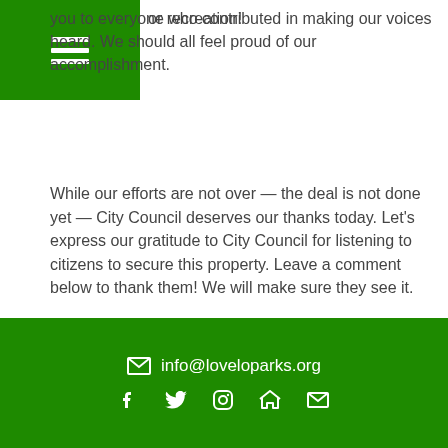[Figure (other): Green navigation bar with hamburger menu icon (three white horizontal lines)]
or recreation!
you to everyone who contributed in making our voices heard. We should all feel proud of our accomplishment.
While our efforts are not over — the deal is not done yet — City Council deserves our thanks today. Let's express our gratitude to City Council for listening to citizens to secure this property. Leave a comment below to thank them! We will make sure they see it.
And, please share this page with your LO friends and family.
-Coalition for Hallinan Woods & LoveLOParks
44 thoughts on “Say Thanks!”
Jane VanderPlaas on October 2, 2020
info@loveloparks.org